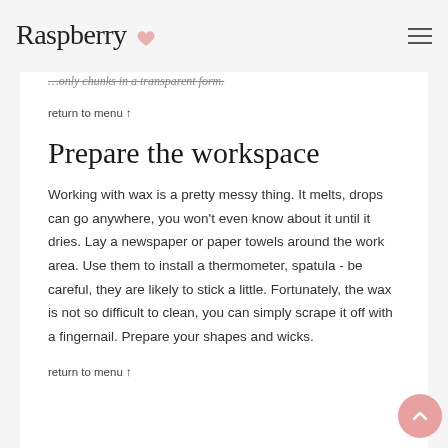Raspberry
…only chunks in a transparent form.
return to menu ↑
Prepare the workspace
Working with wax is a pretty messy thing. It melts, drops can go anywhere, you won't even know about it until it dries. Lay a newspaper or paper towels around the work area. Use them to install a thermometer, spatula - be careful, they are likely to stick a little. Fortunately, the wax is not so difficult to clean, you can simply scrape it off with a fingernail. Prepare your shapes and wicks.
return to menu ↑